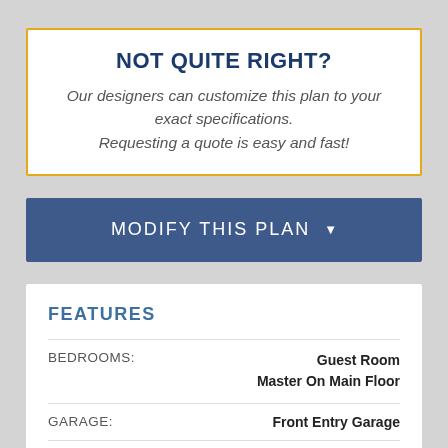NOT QUITE RIGHT?
Our designers can customize this plan to your exact specifications. Requesting a quote is easy and fast!
MODIFY THIS PLAN
FEATURES
| Feature | Value |
| --- | --- |
| BEDROOMS: | Guest Room
Master On Main Floor |
| GARAGE: | Front Entry Garage |
| KITCHEN: | Open Floor Plan |